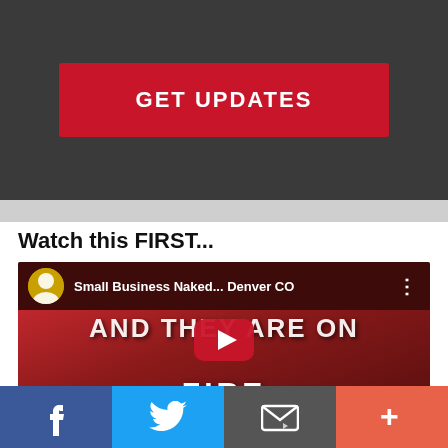GET UPDATES
Watch this FIRST...
[Figure (screenshot): YouTube video thumbnail showing 'Small Business Naked... Denver CO' channel with text 'AND THEY ARE ON FIRE' on a red background with a YouTube play button overlay]
[Figure (infographic): Social sharing bar with four buttons: Facebook (blue), Twitter (light blue), Email (gray), and More/Plus (coral/orange-red)]